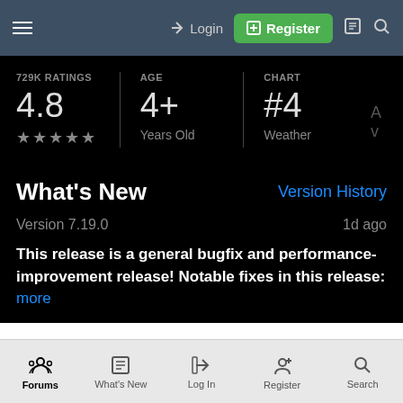Login  Register
| 729K RATINGS | AGE | CHART |
| --- | --- | --- |
| 4.8 ★★★★★ | 4+ Years Old | #4 Weather |
What's New  Version History
Version 7.19.0   1d ago
This release is a general bugfix and performance-improvement release! Notable fixes in this release:  more
Forums  What's New  Log In  Register  Search